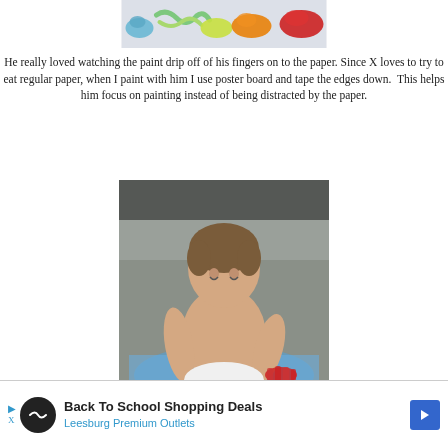[Figure (photo): Top portion of a photo showing colorful finger paints (blue, green, yellow, orange, red) spread on white paper]
He really loved watching the paint drip off of his fingers on to the paper.  Since X loves to try to eat regular paper, when I paint with him I use poster board and tape the edges down.  This helps him focus on painting instead of being distracted by the paper.
[Figure (photo): A baby/toddler sitting on the floor without a shirt, looking down at their hands which have red paint on them, wearing a white diaper. The baby is sitting on a blue cloth.]
Back To School Shopping Deals
Leesburg Premium Outlets